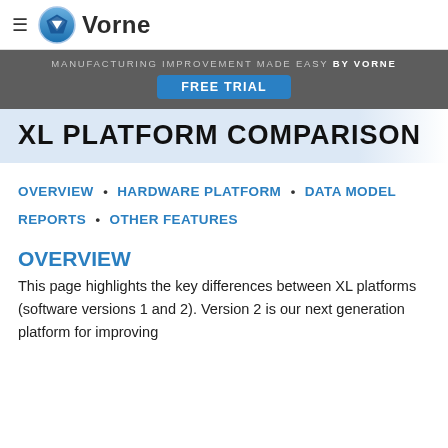≡ Vorne
MANUFACTURING IMPROVEMENT MADE EASY BY VORNE
FREE TRIAL
XL PLATFORM COMPARISON
OVERVIEW • HARDWARE PLATFORM • DATA MODEL REPORTS • OTHER FEATURES
OVERVIEW
This page highlights the key differences between XL platforms (software versions 1 and 2). Version 2 is our next generation platform for improving